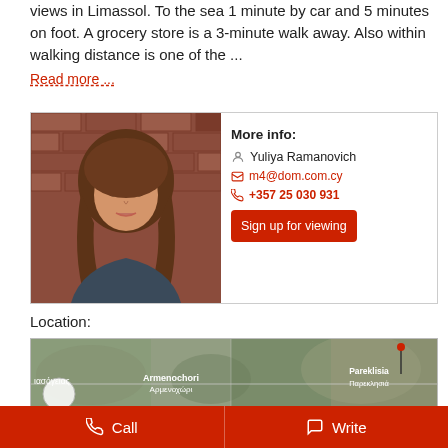views in Limassol. To the sea 1 minute by car and 5 minutes on foot. A grocery store is a 3-minute walk away. Also within walking distance is one of the ...
Read more ...
[Figure (photo): Portrait photo of Yuliya Ramanovich, a woman with long brown hair against a brick wall background]
More info:
Yuliya Ramanovich
m4@dom.com.cy
+357 25 030 931
Sign up for viewing
Location:
[Figure (map): Aerial satellite map showing Armenochori (Αρμενοχώρι) and Pareklisia (Παρεκλησιά) areas near Limassol, Cyprus]